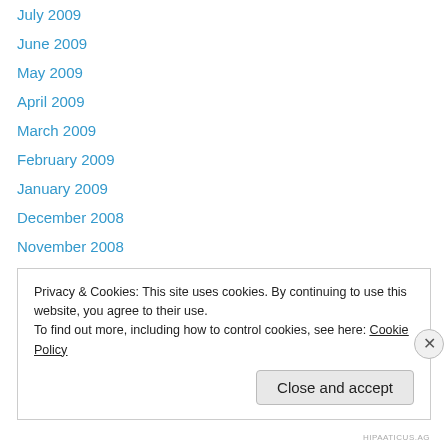July 2009
June 2009
May 2009
April 2009
March 2009
February 2009
January 2009
December 2008
November 2008
October 2008
September 2008
August 2008
July 2008
Privacy & Cookies: This site uses cookies. By continuing to use this website, you agree to their use.
To find out more, including how to control cookies, see here: Cookie Policy
HIPAATICUS.AG